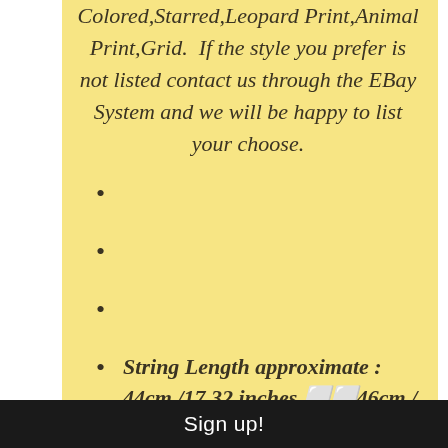Colored,Starred,Leopard Print,Animal Print,Grid.  If the style you prefer is not listed contact us through the EBay System and we will be happy to list your choose.
String Length approximate : 44cm /17.32 inches ⬜⬜46cm / 18.11inches (Adjustable.)
Sign up!